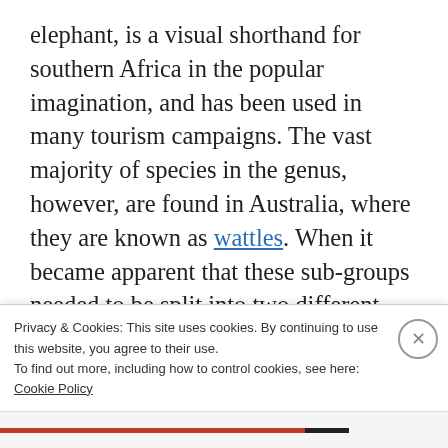elephant, is a visual shorthand for southern Africa in the popular imagination, and has been used in many tourism campaigns. The vast majority of species in the genus, however, are found in Australia, where they are known as wattles. When it became apparent that these sub-groups needed to be split into two different genera, one or the other was going to have to give up the name. A motion was put forth at the International Botanical Congress (IBC) in Vienna in 2005 to have the Australian
Privacy & Cookies: This site uses cookies. By continuing to use this website, you agree to their use.
To find out more, including how to control cookies, see here: Cookie Policy
Close and accept